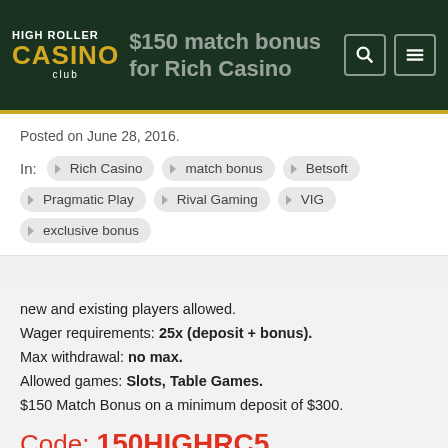HIGH ROLLER CASINO club — $150 match bonus for Rich Casino
Posted on June 28, 2016.
In: Rich Casino, match bonus, Betsoft, Pragmatic Play, Rival Gaming, VIG, exclusive bonus
new and existing players allowed.
Wager requirements: 25x (deposit + bonus).
Max withdrawal: no max.
Allowed games: Slots, Table Games.
$150 Match Bonus on a minimum deposit of $300.
Code: 150HIGHRC5
GET THIS BONUS